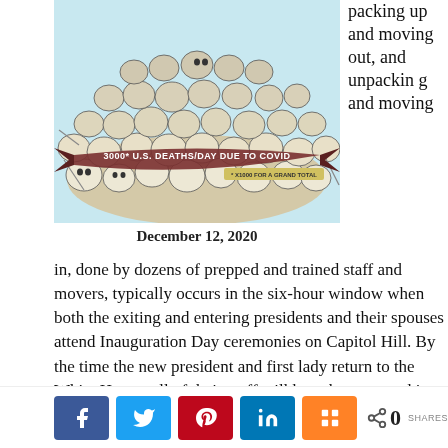[Figure (illustration): Illustration of a pile of cartoon skulls and bones with a banner reading '3000* U.S. DEATHS/DAY DUE TO COVID * x1000 FOR A GRAND TOTAL']
December 12, 2020
packing up and moving out, and unpacking and moving in, done by dozens of prepped and trained staff and movers, typically occurs in the six-hour window when both the exiting and entering presidents and their spouses attend Inauguration Day ceremonies on Capitol Hill. By the time the new president and first lady return to the White House, all of their stuff will have been moved in and ready to go — down to a refrigerator stocked with their favorite foods and the master bathroom equipped with their preferred shampoo.
0 SHARES